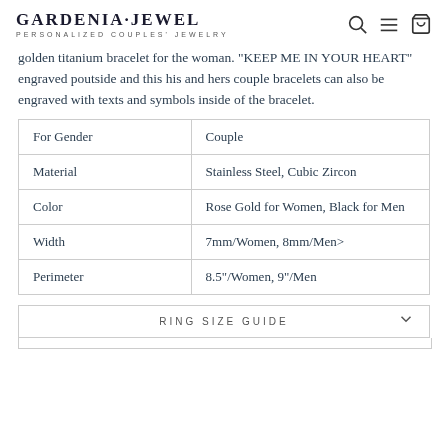GARDENIA·JEWEL — PERSONALIZED COUPLES' JEWELRY
golden titanium bracelet for the woman. "KEEP ME IN YOUR HEART" engraved poutside and this his and hers couple bracelets can also be engraved with texts and symbols inside of the bracelet.
|  |  |
| --- | --- |
| For Gender | Couple |
| Material | Stainless Steel, Cubic Zircon |
| Color | Rose Gold for Women, Black for Men |
| Width | 7mm/Women, 8mm/Men> |
| Perimeter | 8.5"/Women, 9"/Men |
RING SIZE GUIDE